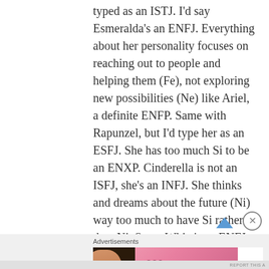typed as an ISTJ. I'd say Esmeralda's an ENFJ. Everything about her personality focuses on reaching out to people and helping them (Fe), not exploring new possibilities (Ne) like Ariel, a definite ENFP. Same with Rapunzel, but I'd type her as an ESFJ. She has too much Si to be an ENXP. Cinderella is not an ISFJ, she's an INFJ. She thinks and dreams about the future (Ni) way too much to have Si rather than Ni. Snow White's an ENFJ for the same reason. And finally, (sorry for how long and boring this probably seems!) Pocahontas is an ISFP like
Advertisements
[Figure (other): Victoria's Secret advertisement banner with model, VS logo, 'SHOP THE COLLECTION' text and 'SHOP NOW' button]